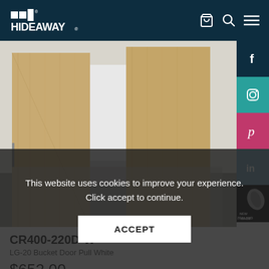Hideaway
[Figure (photo): Interior photo of wooden cabinetry/storage furniture with wood grain panels on light grey floor]
CR400-220D-W
LG-20 Bucket Door Pull White
$652.00
This website uses cookies to improve your experience. Click accept to continue.
ACCEPT